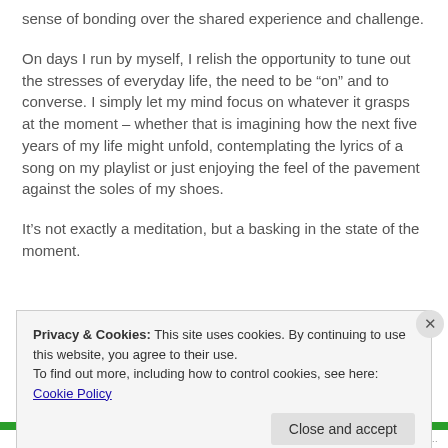sense of bonding over the shared experience and challenge.
On days I run by myself, I relish the opportunity to tune out the stresses of everyday life, the need to be “on” and to converse. I simply let my mind focus on whatever it grasps at the moment – whether that is imagining how the next five years of my life might unfold, contemplating the lyrics of a song on my playlist or just enjoying the feel of the pavement against the soles of my shoes.
It’s not exactly a meditation, but a basking in the state of the moment.
Privacy & Cookies: This site uses cookies. By continuing to use this website, you agree to their use.
To find out more, including how to control cookies, see here: Cookie Policy